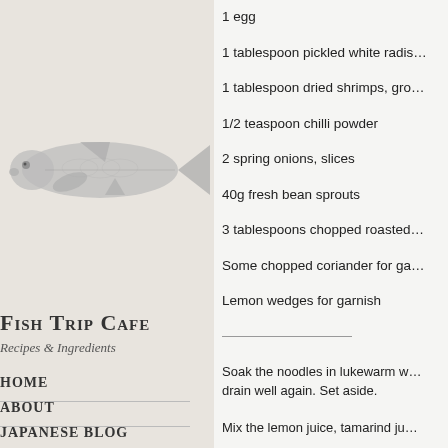[Figure (illustration): Grayscale illustration of a fish (sardine or similar small fish) on a beige/gray textured background]
Fish Trip Cafe
Recipes & Ingredients
HOME
ABOUT
JAPANESE BLOG
1 egg
1 tablespoon pickled white radis...
1 tablespoon dried shrimps, gro...
1/2 teaspoon chilli powder
2 spring onions, slices
40g fresh bean sprouts
3 tablespoons chopped roasted...
Some chopped coriander for ga...
Lemon wedges for garnish
Soak the noodles in lukewarm w... drain well again. Set aside.
Mix the lemon juice, tamarind ju...
Heat the vegetable oil in a wok...